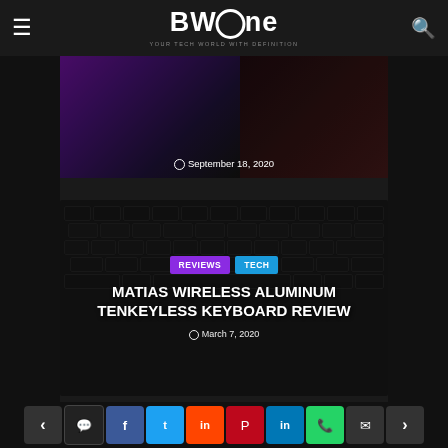BWOne — YOUR TECH WORLD WITH DEFINITION
[Figure (photo): Partially visible keyboard/tech article card with date September 18, 2020]
[Figure (photo): Matias Wireless Aluminum Tenkeyless Keyboard — dark keyboard photo with purple REVIEWS and blue TECH badges, title text, and date March 7, 2020]
MATIAS WIRELESS ALUMINUM TENKEYLESS KEYBOARD REVIEW
March 7, 2020
Share bar: prev, comment, Facebook, Twitter, Reddit, Pinterest, LinkedIn, WhatsApp, Email, next